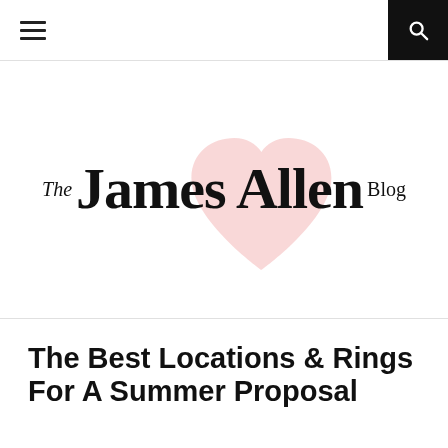The James Allen Blog — navigation header with hamburger menu and search icon
[Figure (logo): The James Allen Blog logo with pink heart background graphic. Text reads: The James Allen Blog]
The Best Locations & Rings For A Summer Proposal